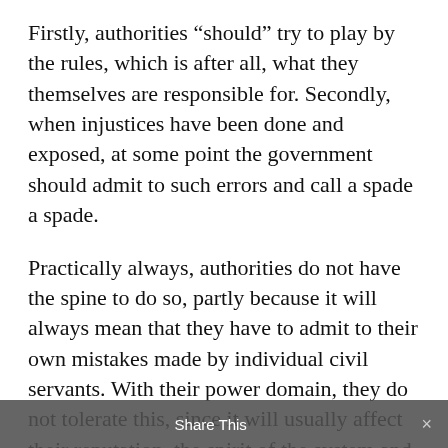Firstly, authorities “should” try to play by the rules, which is after all, what they themselves are responsible for. Secondly, when injustices have been done and exposed, at some point the government should admit to such errors and call a spade a spade.
Practically always, authorities do not have the spine to do so, partly because it will always mean that they have to admit to their own mistakes made by individual civil servants. With their power domain, they do not tolerate this, since it will usually affect their reputation, the spirit of the system and collegial loyalty.
Worst of all, for the politician, their electability is at stake if they cover-up,
Share This ×